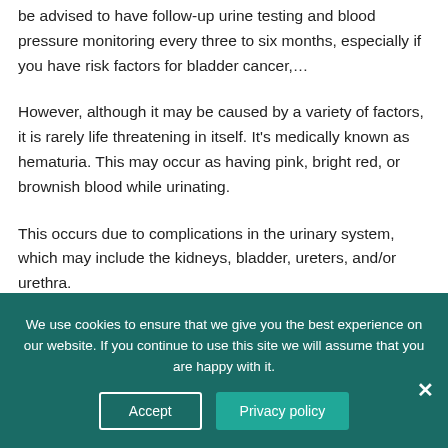be advised to have follow-up urine testing and blood pressure monitoring every three to six months, especially if you have risk factors for bladder cancer,…
However, although it may be caused by a variety of factors, it is rarely life threatening in itself. It's medically known as hematuria. This may occur as having pink, bright red, or brownish blood while urinating.
This occurs due to complications in the urinary system, which may include the kidneys, bladder, ureters, and/or urethra.
We use cookies to ensure that we give you the best experience on our website. If you continue to use this site we will assume that you are happy with it.